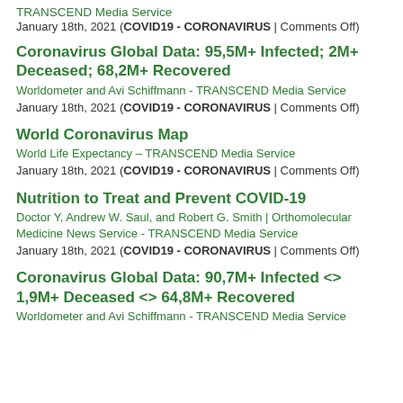TRANSCEND Media Service
January 18th, 2021 (COVID19 - CORONAVIRUS | Comments Off)
Coronavirus Global Data: 95,5M+ Infected; 2M+ Deceased; 68,2M+ Recovered
Worldometer and Avi Schiffmann - TRANSCEND Media Service
January 18th, 2021 (COVID19 - CORONAVIRUS | Comments Off)
World Coronavirus Map
World Life Expectancy – TRANSCEND Media Service
January 18th, 2021 (COVID19 - CORONAVIRUS | Comments Off)
Nutrition to Treat and Prevent COVID-19
Doctor Y, Andrew W. Saul, and Robert G. Smith | Orthomolecular Medicine News Service - TRANSCEND Media Service
January 18th, 2021 (COVID19 - CORONAVIRUS | Comments Off)
Coronavirus Global Data: 90,7M+ Infected <> 1,9M+ Deceased <> 64,8M+ Recovered
Worldometer and Avi Schiffmann - TRANSCEND Media Service